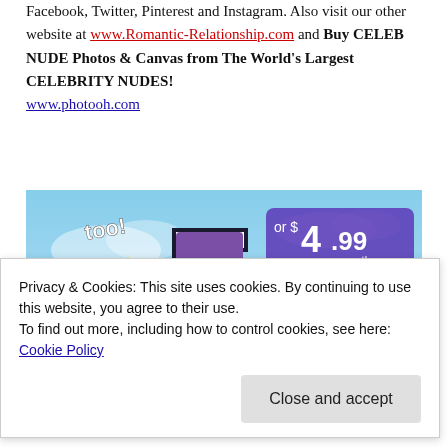Facebook, Twitter, Pinterest and Instagram. Also visit our other website at www.Romantic-Relationship.com and Buy CELEB NUDE Photos & Canvas from The World's Largest CELEBRITY NUDES! www.photooh.com
[Figure (illustration): Tumblr Ad-Free advertisement banner showing the Tumblr 't' logo in pink/purple/white on a blue sky background with yellow sparkle stars, text 'too!', price 'or $4.99 a month + FREE SHIPPING', and 'TUMBLR AD-FREE' at the bottom.]
Privacy & Cookies: This site uses cookies. By continuing to use this website, you agree to their use. To find out more, including how to control cookies, see here: Cookie Policy